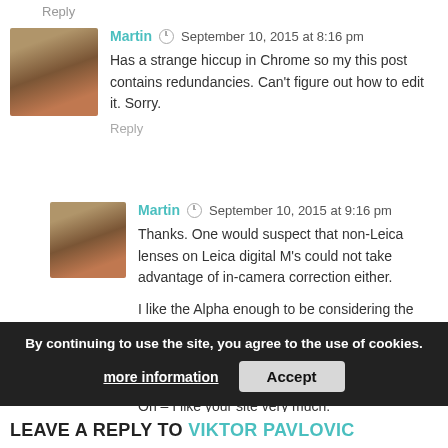Reply
Martin  September 10, 2015 at 8:16 pm
Has a strange hiccup in Chrome so my this post contains redundancies. Can't figure out how to edit it. Sorry.
Reply
Martin  September 10, 2015 at 9:16 pm
Thanks. One would suspect that non-Leica lenses on Leica digital M's could not take advantage of in-camera correction either.

I like the Alpha enough to be considering the Kolari mod. If I do it, I'll post the results. If I add a 35mm to my lens collection, I'd prefer to use it on both the M6 and the Alpha.

Oh – I like your site very much.
By continuing to use the site, you agree to the use of cookies.
more information    Accept
LEAVE A REPLY TO VIKTOR PAVLOVIC